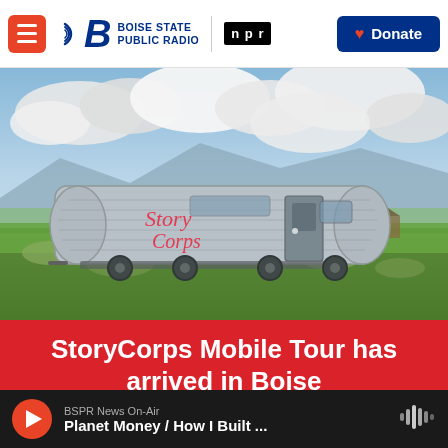Boise State Public Radio | NPR | Donate
[Figure (photo): Silver Airstream-style trailer with 'StoryCorps' written in red cursive on its side, parked in a green grassy field with mountains and dramatic clouds in the background.]
StoryCorps Mobile Tour has arrived in Boise
BSPR News On-Air | Planet Money / How I Built ...